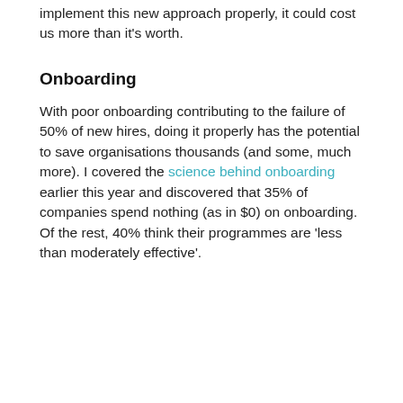implement this new approach properly, it could cost us more than it's worth.
Onboarding
With poor onboarding contributing to the failure of 50% of new hires, doing it properly has the potential to save organisations thousands (and some, much more). I covered the science behind onboarding earlier this year and discovered that 35% of companies spend nothing (as in $0) on onboarding. Of the rest, 40% think their programmes are 'less than moderately effective'.